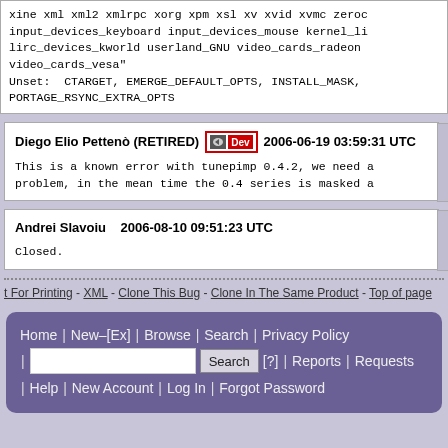xine xml xml2 xmlrpc xorg xpm xsl xv xvid xvmc zeroc input_devices_keyboard input_devices_mouse kernel_li lirc_devices_kworld userland_GNU video_cards_radeon video_cards_vesa" Unset: CTARGET, EMERGE_DEFAULT_OPTS, INSTALL_MASK, PORTAGE_RSYNC_EXTRA_OPTS
Diego Elio Pettenò (RETIRED) [Dev] 2006-06-19 03:59:31 UTC

This is a known error with tunepimp 0.4.2, we need a problem, in the mean time the 0.4 series is masked a
Andrei Slavoiu    2006-08-10 09:51:23 UTC

Closed.
t For Printing - XML - Clone This Bug - Clone In The Same Product - Top of page
Home | New–[Ex] | Browse | Search | Privacy Policy | [Search box] Search [?] | Reports | Requests | Help | New Account | Log In | Forgot Password